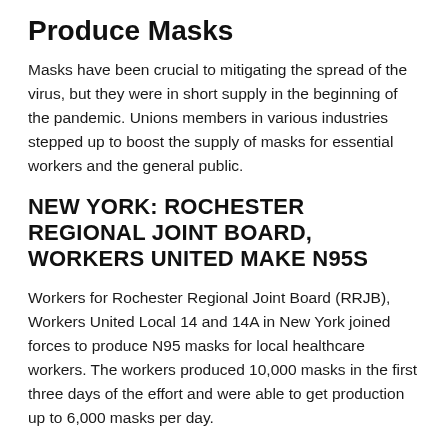Produce Masks
Masks have been crucial to mitigating the spread of the virus, but they were in short supply in the beginning of the pandemic. Unions members in various industries stepped up to boost the supply of masks for essential workers and the general public.
NEW YORK: ROCHESTER REGIONAL JOINT BOARD, WORKERS UNITED MAKE N95S
Workers for Rochester Regional Joint Board (RRJB), Workers United Local 14 and 14A in New York joined forces to produce N95 masks for local healthcare workers. The workers produced 10,000 masks in the first three days of the effort and were able to get production up to 6,000 masks per day.
"We all felt the pressure to move quickly to do anything that could help our front-line workers," said Gary Bonadonna, Jr.,